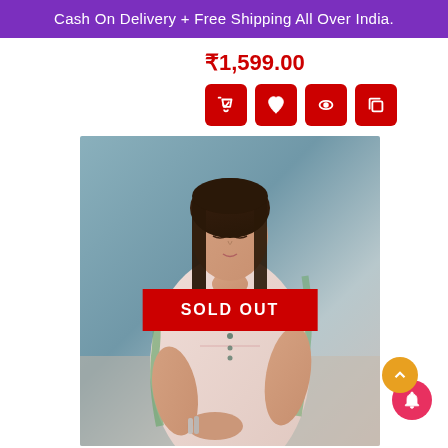Cash On Delivery + Free Shipping All Over India.
₹1,599.00
[Figure (screenshot): Four red icon buttons: add to cart (cursor/hand), wishlist (heart), quick view (eye), and compare (copy/layers)]
[Figure (photo): A young woman wearing a light pink floral kurti with green border dupatta, looking down. A red SOLD OUT overlay banner is across the middle of the image.]